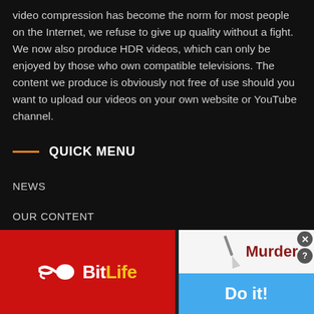video compression has become the norm for most people on the Internet, we refuse to give up quality without a fight. We now also produce HDR videos, which can only be enjoyed by those who own compatible televisions. The content we produce is obviously not free of use should you want to upload our videos on your own website or YouTube channel.
QUICK MENU
NEWS
OUR CONTENT
EXPLORE
FORUM
[Figure (illustration): Advertisement banner split into two sections. Left red section shows BitLife logo with sperm icon and yellow/white text. Right section shows a game ad with 'Murder' text in dark red and 'Do it!' button in light blue on white background. Close X button and help question mark button in gray circles at top right.]